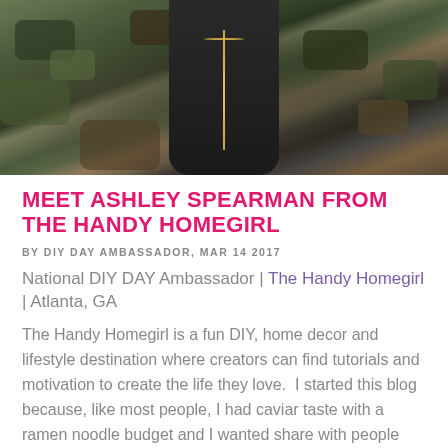[Figure (photo): Close-up photo of a person wearing a camouflage jacket over a dark shirt with a gold chain necklace visible]
MEET ASHLEY SPEARMAN FROM THE HANDY HOMEGIRL
BY DIY DAY AMBASSADOR, MAR 14 2017
National DIY DAY Ambassador | The Handy Homegirl | Atlanta, GA
The Handy Homegirl is a fun DIY, home decor and lifestyle destination where creators can find tutorials and motivation to create the life they love.  I started this blog because, like most people, I had caviar taste with a ramen noodle budget and I wanted share with people how I created furniture and designed my home on a modest budget.